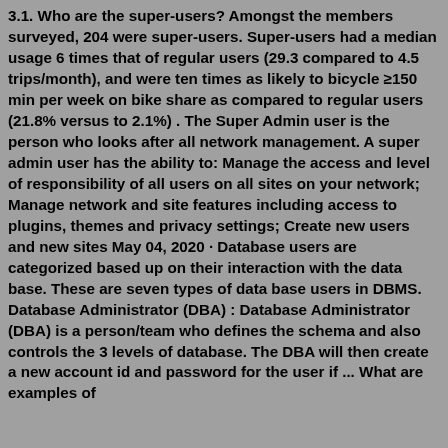3.1. Who are the super-users? Amongst the members surveyed, 204 were super-users. Super-users had a median usage 6 times that of regular users (29.3 compared to 4.5 trips/month), and were ten times as likely to bicycle ≥150 min per week on bike share as compared to regular users (21.8% versus to 2.1%) . The Super Admin user is the person who looks after all network management. A super admin user has the ability to: Manage the access and level of responsibility of all users on all sites on your network; Manage network and site features including access to plugins, themes and privacy settings; Create new users and new sites May 04, 2020 · Database users are categorized based up on their interaction with the data base. These are seven types of data base users in DBMS. Database Administrator (DBA) : Database Administrator (DBA) is a person/team who defines the schema and also controls the 3 levels of database. The DBA will then create a new account id and password for the user if ... What are examples of